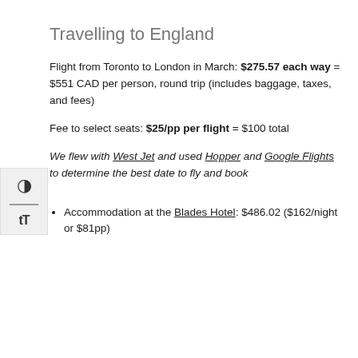Travelling to England
Flight from Toronto to London in March: $275.57 each way = $551 CAD per person, round trip (includes baggage, taxes, and fees)
Fee to select seats: $25/pp per flight = $100 total
We flew with West Jet and used Hopper and Google Flights to determine the best date to fly and book
Accommodation at the Blades Hotel: $486.02 ($162/night or $81pp)